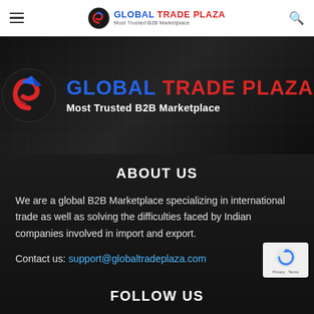Global Trade Plaza — Most Trusted B2B Marketplace (navigation bar)
[Figure (logo): Global Trade Plaza logo with red swirl icon, blue GLOBAL and red TRADE PLAZA text, tagline Most Trusted B2B Marketplace on dark background hero banner]
ABOUT US
We are a global B2B Marketplace specializing in international trade as well as solving the difficulties faced by Indian companies involved in import and export.
Contact us: support@globaltradeplaza.com
FOLLOW US